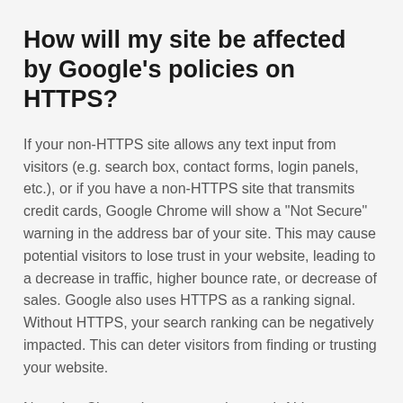How will my site be affected by Google's policies on HTTPS?
If your non-HTTPS site allows any text input from visitors (e.g. search box, contact forms, login panels, etc.), or if you have a non-HTTPS site that transmits credit cards, Google Chrome will show a "Not Secure" warning in the address bar of your site. This may cause potential visitors to lose trust in your website, leading to a decrease in traffic, higher bounce rate, or decrease of sales. Google also uses HTTPS as a ranking signal. Without HTTPS, your search ranking can be negatively impacted. This can deter visitors from finding or trusting your website.
Note that Chrome has proposed to mark ALL non-HTTPS pages as "Not secure" in the near future, and as HTTPS becomes more of the norm, they plan to make